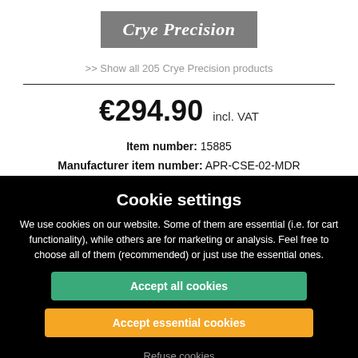[Figure (logo): Crye Precision brand logo on grey background]
>> Show all 205 Crye Precision products
€294.90  incl. VAT
Item number: 15885
Manufacturer item number: APR-CSE-02-MDR
Cookie settings
We use cookies on our website. Some of them are essential (i.e. for cart functionality), while others are for marketing or analysis. Feel free to choose all of them (recommended) or just use the essential ones.
Accept all cookies
Accept essential cookies
Refuse cookies